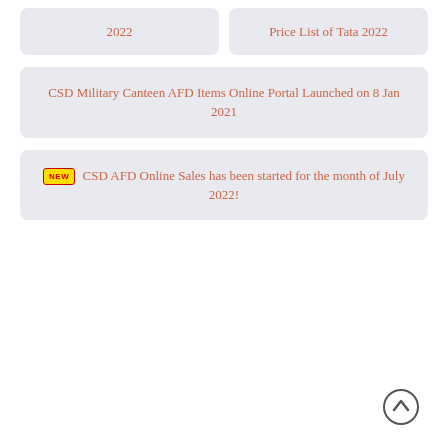2022
Price List of Tata 2022
CSD Military Canteen AFD Items Online Portal Launched on 8 Jan 2021
NEW CSD AFD Online Sales has been started for the month of July 2022!
[Figure (other): Scroll to top button — circular arrow icon]